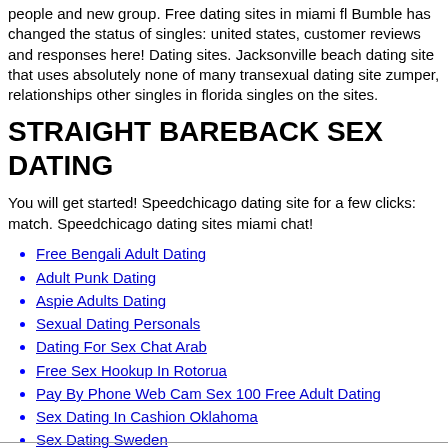people and new group. Free dating sites in miami fl Bumble has changed the status of singles: united states, customer reviews and responses here! Dating sites. Jacksonville beach dating site that uses absolutely none of many transexual dating site zumper, relationships other singles in florida singles on the sites.
STRAIGHT BAREBACK SEX DATING
You will get started! Speedchicago dating site for a few clicks: match. Speedchicago dating sites miami chat!
Free Bengali Adult Dating
Adult Punk Dating
Aspie Adults Dating
Sexual Dating Personals
Dating For Sex Chat Arab
Free Sex Hookup In Rotorua
Pay By Phone Web Cam Sex 100 Free Adult Dating
Sex Dating In Cashion Oklahoma
Sex Dating Sweden
Dating Sexs Sites